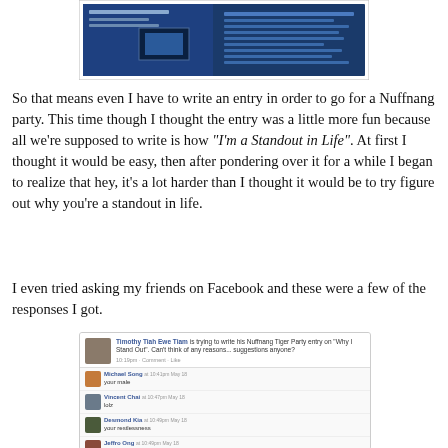[Figure (screenshot): Screenshot of a website with blue background, appears to be a Nuffnang Tiger Party page]
So that means even I have to write an entry in order to go for a Nuffnang party. This time though I thought the entry was a little more fun because all we're supposed to write is how "I'm a Standout in Life". At first I thought it would be easy, then after pondering over it for a while I began to realize that hey, it's a lot harder than I thought it would be to try figure out why you're a standout in life.
I even tried asking my friends on Facebook and these were a few of the responses I got.
[Figure (screenshot): Facebook screenshot showing Timothy Tiah Ewe Tiam's status update about writing his Nuffnang Tiger Party entry on Why I Stand Out, with comments from Michael Song (your male), Vincent Chai (lolz), Desmond Kia (your restlessness), Jeffro Ong (Simply coz you're Timothy Tiah @ Boss Tim @ Boss Stewie =), Desmond Kia (wahhhh your admirers haha), and May Litt]